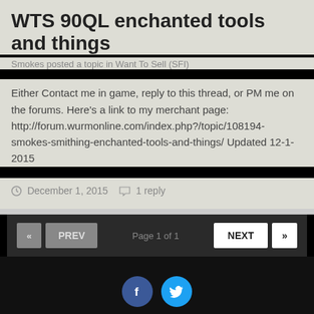WTS 90QL enchanted tools and things
Smokes posted a topic in Want To Sell (SFI)
Either Contact me in game, reply to this thread, or PM me on the forums. Here's a link to my merchant page: http://forum.wurmonline.com/index.php?/topic/108194-smokes-smithing-enchanted-tools-and-things/ Updated 12-1-2015
December 1, 2015   1 reply
Theme  Privacy Policy  Contact Us  Powered by Invision Community